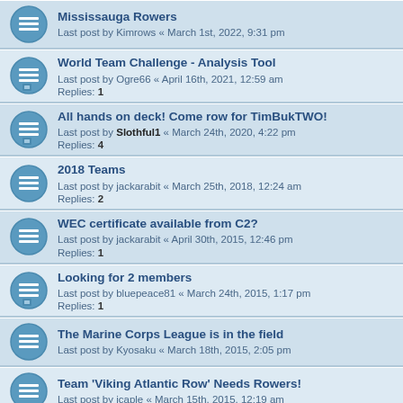Mississauga Rowers
Last post by Kimrows « March 1st, 2022, 9:31 pm
World Team Challenge - Analysis Tool
Last post by Ogre66 « April 16th, 2021, 12:59 am
Replies: 1
All hands on deck! Come row for TimBukTWO!
Last post by Slothful1 « March 24th, 2020, 4:22 pm
Replies: 4
2018 Teams
Last post by jackarabit « March 25th, 2018, 12:24 am
Replies: 2
WEC certificate available from C2?
Last post by jackarabit « April 30th, 2015, 12:46 pm
Replies: 1
Looking for 2 members
Last post by bluepeace81 « March 24th, 2015, 1:17 pm
Replies: 1
The Marine Corps League is in the field
Last post by Kyosaku « March 18th, 2015, 2:05 pm
Team 'Viking Atlantic Row' Needs Rowers!
Last post by jcaple « March 15th, 2015, 12:19 am
Seeking Team World Erg Challenge March-April 2015
Last post by jackarabit « March 14th, 2015, 11:28 am
Replies: 6
Forum Flyers World Erg Challenge
Last post by matthed « March 12th, 2015, 4:13 pm
Replies: 3